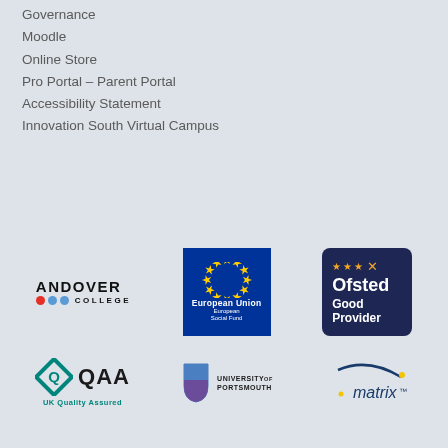Governance
Moodle
Online Store
Pro Portal – Parent Portal
Accessibility Statement
Innovation South Virtual Campus
[Figure (logo): Andover College logo with red and blue dots]
[Figure (logo): European Union European Social Fund logo with blue background and yellow stars]
[Figure (logo): Ofsted Good Provider logo, dark navy blue rounded rectangle]
[Figure (logo): QAA UK Quality Assured logo, teal diamond with Q]
[Figure (logo): University of Portsmouth logo]
[Figure (logo): matrix logo in dark blue]